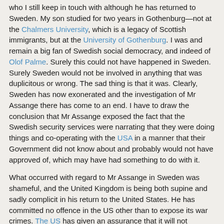who I still keep in touch with although he has returned to Sweden. My son studied for two years in Gothenburg—not at the Chalmers University, which is a legacy of Scottish immigrants, but at the University of Gothenburg. I was and remain a big fan of Swedish social democracy, and indeed of Olof Palme. Surely this could not have happened in Sweden. Surely Sweden would not be involved in anything that was duplicitous or wrong. The sad thing is that it was. Clearly, Sweden has now exonerated and the investigation of Mr Assange there has come to an end. I have to draw the conclusion that Mr Assange exposed the fact that the Swedish security services were narrating that they were doing things and co-operating with the USA in a manner that their Government did not know about and probably would not have approved of, which may have had something to do with it.
What occurred with regard to Mr Assange in Sweden was shameful, and the United Kingdom is being both supine and sadly complicit in his return to the United States. He has committed no offence in the US other than to expose its war crimes. The US has given an assurance that it will not execute Mr Assange, but we know from the attitude of the US that he is unlikely to see the light of day from a federal prison if he is sent there, and given his current state of health he is unlikely to survive. It is simply unacceptable that we should have had the ongoing UK Government collusion, through the Ecuadorian embassy, with the US, and indeed even the US contemplating a hit job—to put it in its parlance—upon Mr